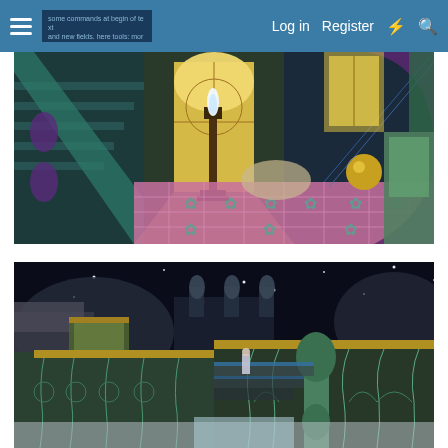Log in  Register
[Figure (screenshot): Fantasy video game interior scene showing a colorful hall with stained glass windows, tiled floor with floral patterns, a torch/lantern on a stand, ornate staircase with teal/green colors, and decorative purple curved architecture]
[Figure (screenshot): Fantasy video game exterior/courtyard night scene showing ornate teal and gold railings/balusters, stone steps, dark starry sky background, and a small character figure in the distance]